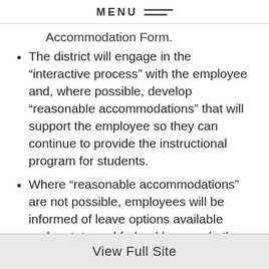MENU
Accommodation Form.
The district will engage in the “interactive process” with the employee and, where possible, develop “reasonable accommodations” that will support the employee so they can continue to provide the instructional program for students.
Where “reasonable accommodations” are not possible, employees will be informed of leave options available under state and federal laws and other leave options available within the negotiated contractual agreements with our bargaining units.
View Full Site